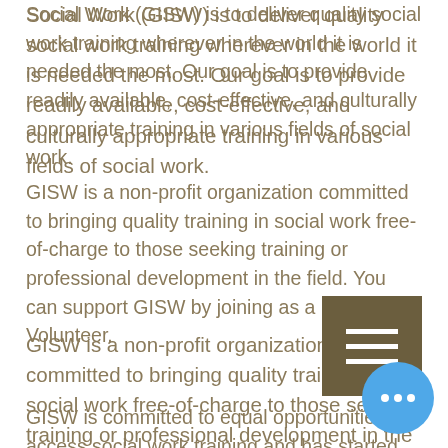Social Work (GISW) is to deliver quality social work training wherever in the world it is needed the most. Our goal is to provide readily available, cost-effective, and culturally appropriate training in various fields of social work.
GISW is a non-profit organization committed to bringing quality training in social work free-of-charge to those seeking training or professional development in the field. You can support GISW by joining as a Friend or Volunteer.
GISW is committed to equal opportunities for access social work training and has started the International Scholarship Fund. Support
[Figure (other): Hamburger menu button - dark brown square with three white horizontal bars]
[Figure (other): Chat/more options button - blue circle with three white dots]